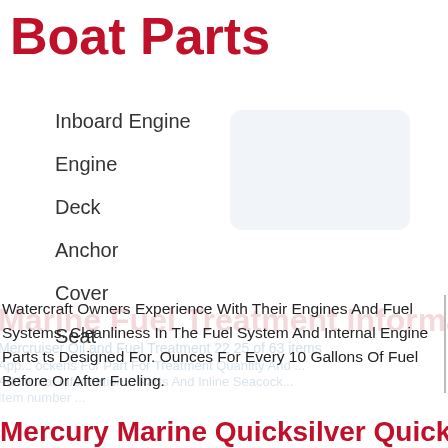Boat Parts
Inboard Engine
Engine
Deck
Anchor
Cover
Seat
Watercraft Owners Experience With Their Engines And Fuel Systems. Cleanliness In The Fuel System And Internal Engine Parts ts Designed For. Ounces For Every 10 Gallons Of Fuel Before Or After Fueling.
Mercury Marine Quicksilver Quickstor